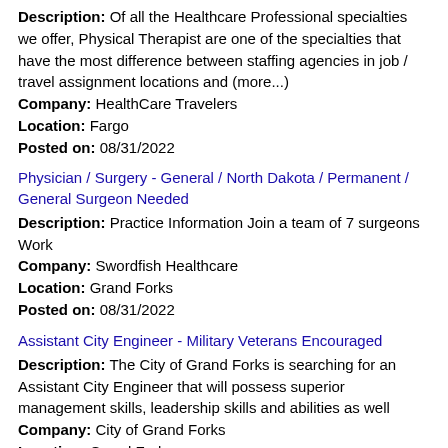Description: Of all the Healthcare Professional specialties we offer, Physical Therapist are one of the specialties that have the most difference between staffing agencies in job / travel assignment locations and (more...) Company: HealthCare Travelers Location: Fargo Posted on: 08/31/2022
Physician / Surgery - General / North Dakota / Permanent / General Surgeon Needed
Description: Practice Information Join a team of 7 surgeons Work Company: Swordfish Healthcare Location: Grand Forks Posted on: 08/31/2022
Assistant City Engineer - Military Veterans Encouraged
Description: The City of Grand Forks is searching for an Assistant City Engineer that will possess superior management skills, leadership skills and abilities as well Company: City of Grand Forks Location: Grand Forks Posted on: 08/31/2022
Med-surg Adult travel Registered Nurse needed in Devils